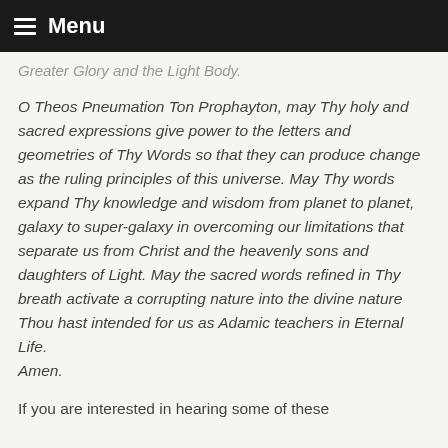Menu
Greater Glory and the Light Body.
O Theos Pneumation Ton Prophayton, may Thy holy and sacred expressions give power to the letters and geometries of Thy Words so that they can produce change as the ruling principles of this universe. May Thy words expand Thy knowledge and wisdom from planet to planet, galaxy to super-galaxy in overcoming our limitations that separate us from Christ and the heavenly sons and daughters of Light. May the sacred words refined in Thy breath activate a corrupting nature into the divine nature Thou hast intended for us as Adamic teachers in Eternal Life.
Amen.
If you are interested in hearing some of these